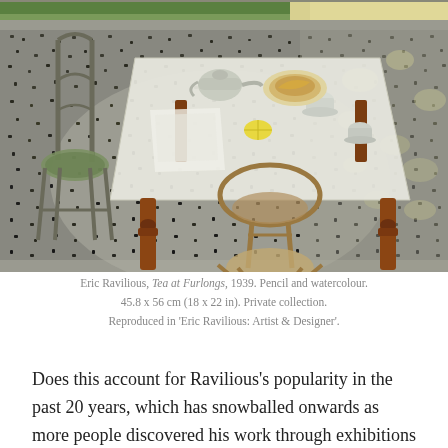[Figure (illustration): Watercolour and pencil painting by Eric Ravilious titled 'Tea at Furlongs' (1939). Shows an outdoor scene with a white table set for tea, two bentwood-style chairs, teacups, a teapot, and a plate of food. The ground is textured with dark stippling suggesting grass or gravel. A yellow pole or umbrella post is visible at the right. Soft muted colours: greens, greys, warm browns for the table legs.]
Eric Ravilious, Tea at Furlongs, 1939. Pencil and watercolour. 45.8 x 56 cm (18 x 22 in). Private collection. Reproduced in 'Eric Ravilious: Artist & Designer'.
Does this account for Ravilious's popularity in the past 20 years, which has snowballed onwards as more people discovered his work through exhibitions and books? I should like to think that out a number of painters contemporary with